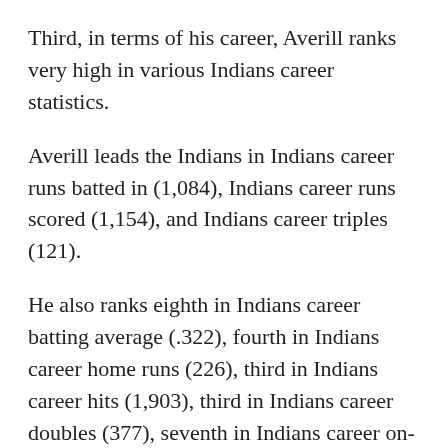Third, in terms of his career, Averill ranks very high in various Indians career statistics.
Averill leads the Indians in Indians career runs batted in (1,084), Indians career runs scored (1,154), and Indians career triples (121).
He also ranks eighth in Indians career batting average (.322), fourth in Indians career home runs (226), third in Indians career hits (1,903), third in Indians career doubles (377), seventh in Indians career on-base percentage (.399), and tied for fifth in Indians career slugging percentage (.542).